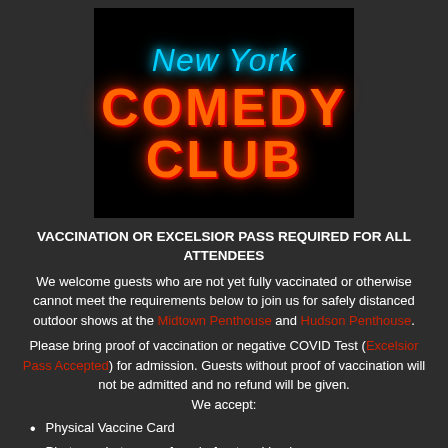[Figure (logo): New York Comedy Club neon sign logo on black background. 'New York' in cursive cyan neon text, 'COMEDY' and 'CLUB' in large orange/red neon block letters.]
VACCINATION OR EXCELSIOR PASS REQUIRED FOR ALL ATTENDEES
We welcome guests who are not yet fully vaccinated or otherwise cannot meet the requirements below to join us for safely distanced outdoor shows at the Midtown Penthouse and Hudson Penthouse.
Please bring proof of vaccination or negative COVID Test (Excelsior Pass Accepted) for admission. Guests without proof of vaccination will not be admitted and no refund will be given. We accept:
Physical Vaccine Card
Photo or photocopy of card - front and back